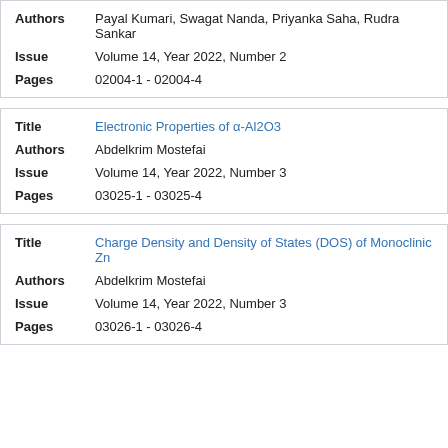| Field | Value |
| --- | --- |
| Authors | Payal Kumari, Swagat Nanda, Priyanka Saha, Rudra Sankar |
| Issue | Volume 14, Year 2022, Number 2 |
| Pages | 02004-1 - 02004-4 |
| Field | Value |
| --- | --- |
| Title | Electronic Properties of α-Al2O3 |
| Authors | Abdelkrim Mostefai |
| Issue | Volume 14, Year 2022, Number 3 |
| Pages | 03025-1 - 03025-4 |
| Field | Value |
| --- | --- |
| Title | Charge Density and Density of States (DOS) of Monoclinic Zn |
| Authors | Abdelkrim Mostefai |
| Issue | Volume 14, Year 2022, Number 3 |
| Pages | 03026-1 - 03026-4 |